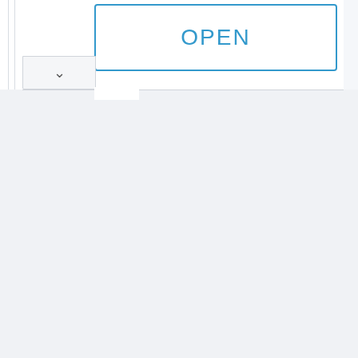[Figure (screenshot): A UI screenshot fragment showing a white panel with an 'OPEN' button outlined in blue, a dropdown chevron indicator on the left side, and a largely empty light gray background below.]